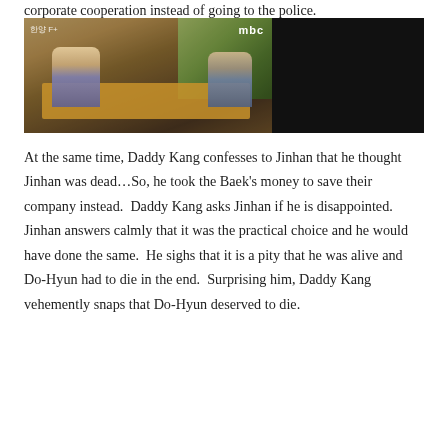corporate cooperation instead of going to the police.
[Figure (screenshot): MBC TV screenshot showing two men sitting at a low dining table in a room with a window overlooking greenery. The left portion shows the scene and the right portion is dark/black. MBC logo visible in top right, Korean broadcaster watermark in top left.]
At the same time, Daddy Kang confesses to Jinhan that he thought Jinhan was dead…So, he took the Baek's money to save their company instead.  Daddy Kang asks Jinhan if he is disappointed.  Jinhan answers calmly that it was the practical choice and he would have done the same.  He sighs that it is a pity that he was alive and Do-Hyun had to die in the end.  Surprising him, Daddy Kang vehemently snaps that Do-Hyun deserved to die.